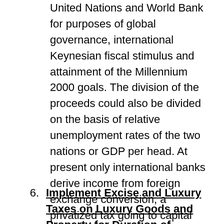United Nations and World Bank for purposes of global governance, international Keynesian fiscal stimulus and attainment of the Millennium 2000 goals. The division of the proceeds could also be divided on the basis of relative unemployment rates of the two nations or GDP per head. At present only international banks derive income from foreign exchange conversion, a privatized tax going to capital owners. The proceeds of the Tobin Tax should be used to COMPENSATE THOSE ADVERSELY AFFECTED BY GLOBALIZATION, including the long-term unemployed, underclasses, those in need of vocational re-training, relocation, and income guarantees or minimum income guarantees under a Social Safety Net or Social Contract.
6. Implement Excise and Luxury Taxes on Luxury Goods and Property for Duration of Financial